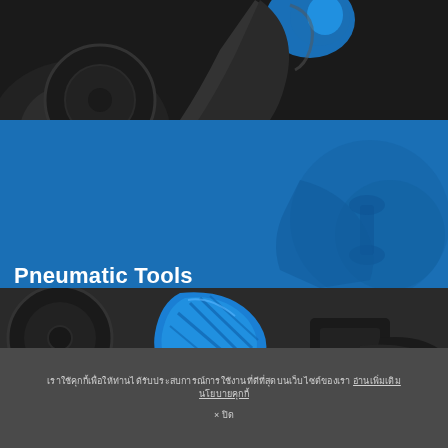[Figure (photo): Close-up of a pneumatic tool being used on automotive or mechanical components, showing a blue-accented tool handle against dark machinery parts]
Pneumatic Tools
[Figure (photo): Close-up of a bright blue pneumatic tool (impact wrench or grinder) being used on a dark mechanical component such as a wheel or brake assembly, in black and white background]
เราใช้คุกกี้เพื่อให้ท่านได้รับประสบการณ์การใช้งานที่ดีที่สุดบนเว็บไซต์ของเรา อ่านเพิ่มเติม นโยบายคุกกี้
× ปิด